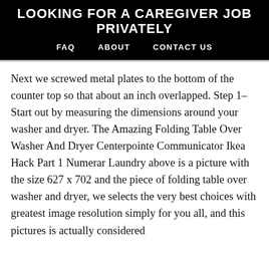LOOKING FOR A CAREGIVER JOB PRIVATELY
FAQ   ABOUT   CONTACT US
Next we screwed metal plates to the bottom of the counter top so that about an inch overlapped. Step 1– Start out by measuring the dimensions around your washer and dryer. The Amazing Folding Table Over Washer And Dryer Centerpointe Communicator Ikea Hack Part 1 Numerar Laundry above is a picture with the size 627 x 702 and the piece of folding table over washer and dryer, we selects the very best choices with greatest image resolution simply for you all, and this pictures is actually considered